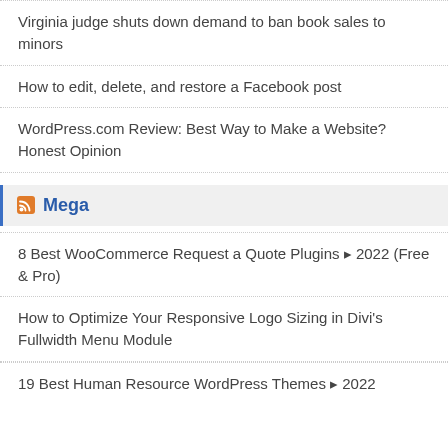Virginia judge shuts down demand to ban book sales to minors
How to edit, delete, and restore a Facebook post
WordPress.com Review: Best Way to Make a Website? Honest Opinion
Mega
8 Best WooCommerce Request a Quote Plugins ▸ 2022 (Free & Pro)
How to Optimize Your Responsive Logo Sizing in Divi's Fullwidth Menu Module
19 Best Human Resource WordPress Themes ▸ 2022